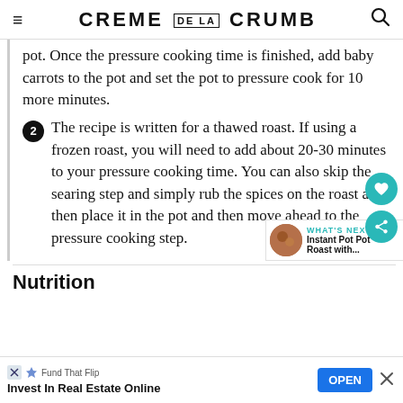CREME DE LA CRUMB
pot. Once the pressure cooking time is finished, add baby carrots to the pot and set the pot to pressure cook for 10 more minutes.
2. The recipe is written for a thawed roast. If using a frozen roast, you will need to add about 20-30 minutes to your pressure cooking time. You can also skip the searing step and simply rub the spices on the roast and then place it in the pot and then move ahead to the pressure cooking step.
Nutrition
Fund That Flip — Invest In Real Estate Online — OPEN